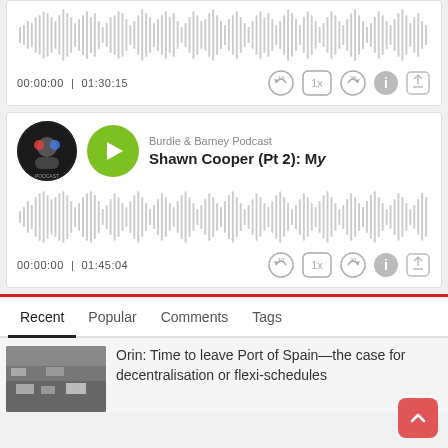[Figure (screenshot): Podcast player card (partial, cropped at top) showing audio waveform, time 00:00:00 | 01:30:15, and playback controls]
[Figure (screenshot): Podcast player card for Burdie & Barney Podcast episode 'Shawn Cooper (Pt 2): My...' with green play button, waveform, time 00:00:00 | 01:45:04, and playback controls]
Recent  Popular  Comments  Tags
Orin: Time to leave Port of Spain—the case for decentralisation or flexi-schedules